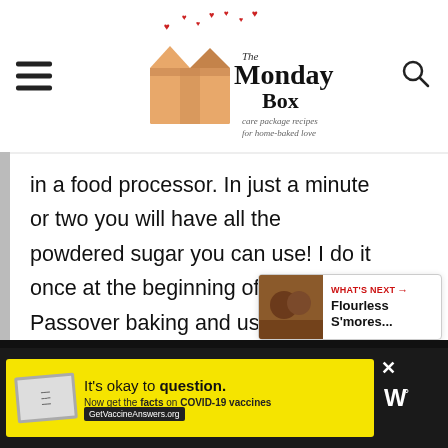[Figure (logo): The Monday Box logo with care package and hearts illustration, tagline: care package recipes for home-baked love]
in a food processor. In just a minute or two you will have all the powdered sugar you can use! I do it once at the beginning of my Passover baking and use it throughout the week. I will add that note to the recipe card. 🙂 Happy Passover!
[Figure (infographic): WHAT'S NEXT arrow label with Flourless S'mores... thumbnail card]
[Figure (infographic): COVID-19 vaccine advertisement banner: It's okay to question. Now get the facts on COVID-19 vaccines. GetVaccineAnswers.org]